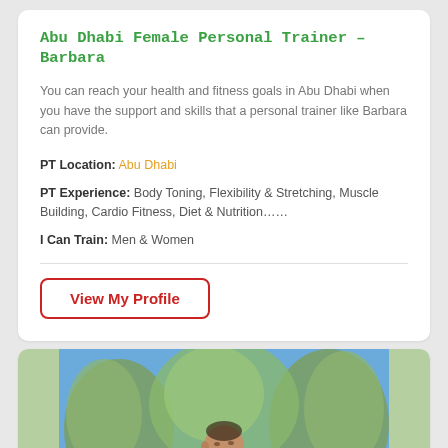Abu Dhabi Female Personal Trainer – Barbara
You can reach your health and fitness goals in Abu Dhabi when you have the support and skills that a personal trainer like Barbara can provide.
PT Location: Abu Dhabi
PT Experience: Body Toning, Flexibility & Stretching, Muscle Building, Cardio Fitness, Diet & Nutrition……
I Can Train: Men & Women
View My Profile
[Figure (photo): A shirtless male personal trainer photographed outdoors in front of olive trees against a blue sky, looking to the side.]